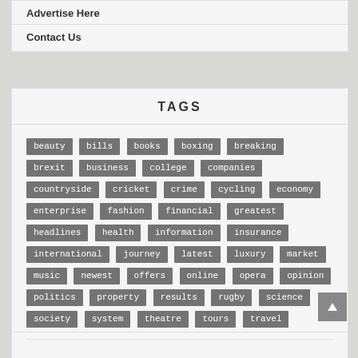Advertise Here
Contact Us
TAGS
beauty
bills
books
boxing
breaking
brexit
business
college
companies
countryside
cricket
crime
cycling
economy
enterprise
fashion
financial
greatest
headlines
health
information
insurance
international
journey
latest
luxury
market
music
newest
offers
online
opera
opinion
politics
property
results
rugby
science
society
system
theatre
tours
travel
union
world